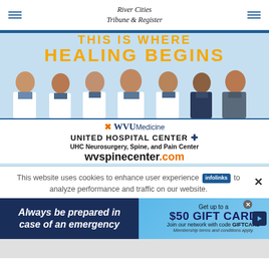River Cities Tribune & Register
[Figure (advertisement): WVU Medicine United Hospital Center advertisement showing 'THIS IS WHERE HEALING BEGINS' in gold text on blue background with seven doctors in white coats, WVU Medicine logo, United Hospital Center branding, UHC Neurosurgery, Spine, and Pain Center, and wvspinecenter.com URL]
This website uses cookies to enhance user experience and to analyze performance and traffic on our website.
[Figure (advertisement): Infolinks advertisement banner: left side dark blue with italic text 'Always be prepared in case of an emergency', right side light blue with 'Get up to a $50 GIFT CARD Join our network with code GIFTCARD Membership terms and conditions apply.']